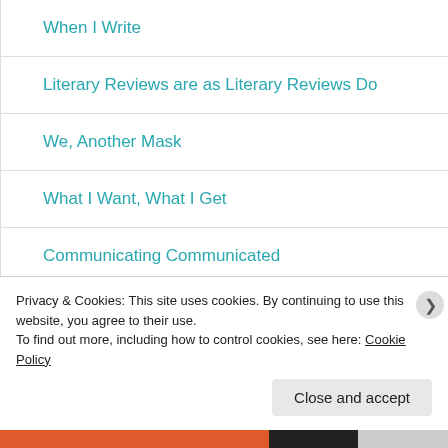When I Write
Literary Reviews are as Literary Reviews Do
We, Another Mask
What I Want, What I Get
Communicating Communicated
The Good, the Bad and the Literary
Rhetorical Strategy
Privacy & Cookies: This site uses cookies. By continuing to use this website, you agree to their use.
To find out more, including how to control cookies, see here: Cookie Policy
Close and accept